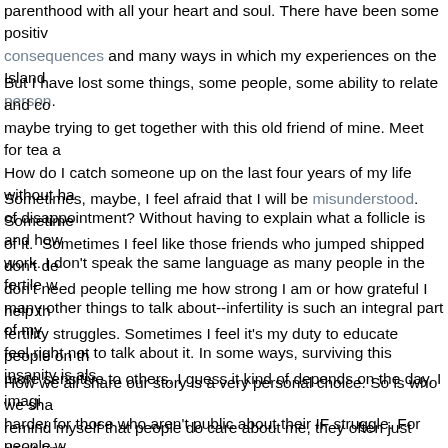parenthood with all your heart and soul. There have been some positive consequences and many ways in which my experiences on the Island person.
But I have lost some things, some people, some ability to relate and co maybe trying to get together with this old friend of mine. Meet for tea a How do I catch someone up on the last four years of my life without ha of disappointment? Without having to explain what a follicle is and how work. I don't speak the same language as many people in the fertile w many other things to talk about--infertility is such an integral part of my feel right not to talk about it. In some ways, surviving this insanity is als
Sometimes, maybe, I feel afraid that I will be misunderstood. Sometimes of it. Sometimes I feel like those friends who jumped shipped don't de don't need people telling me how strong I am or how grateful I help th fertility struggles. Sometimes I feel it's my duty to educate people on th more sensitive to others. I guess it kind of depends on the day. I imagi harder for those who aren't public about their IF struggle. For people w be really hard to meet up with an old friend or see family you haven't s reasonable answer to the question, "How have you been?" Sometimes have NO idea!" but instead you nod and smile and say, "Good. You kn
How we all share our story is a very personal choice. So is who we sha remind myself that people do care about me, they often just don't kno